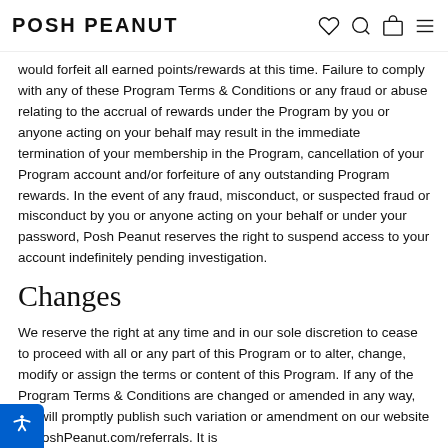POSH PEANUT
would forfeit all earned points/rewards at this time. Failure to comply with any of these Program Terms & Conditions or any fraud or abuse relating to the accrual of rewards under the Program by you or anyone acting on your behalf may result in the immediate termination of your membership in the Program, cancellation of your Program account and/or forfeiture of any outstanding Program rewards. In the event of any fraud, misconduct, or suspected fraud or misconduct by you or anyone acting on your behalf or under your password, Posh Peanut reserves the right to suspend access to your account indefinitely pending investigation.
Changes
We reserve the right at any time and in our sole discretion to cease to proceed with all or any part of this Program or to alter, change, modify or assign the terms or content of this Program. If any of the Program Terms & Conditions are changed or amended in any way, we will promptly publish such variation or amendment on our website at PoshPeanut.com/referrals. It is